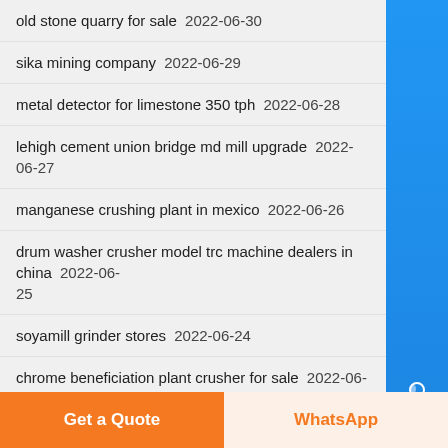old stone quarry for sale  2022-06-30
sika mining company  2022-06-29
metal detector for limestone 350 tph  2022-06-28
lehigh cement union bridge md mill upgrade  2022-06-27
manganese crushing plant in mexico  2022-06-26
drum washer crusher model trc machine dealers in china  2022-06-25
soyamill grinder stores  2022-06-24
chrome beneficiation plant crusher for sale  2022-06-23
coal crushers sayaji  2022-06-22
cooper crusher gauges  2022-06-21
address of pinagpala pt aggregate corporation  2022-06-20